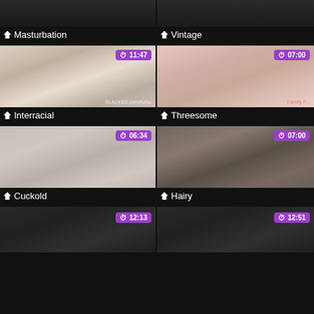[Figure (screenshot): Thumbnail grid of video categories: Masturbation, Vintage (top partial row), Interracial with 11:47 badge, Threesome with 07:00 badge, Cuckold with 06:34 badge, Hairy with 07:00 badge, two partial thumbnails with 12:13 and 12:51 badges]
Masturbation
Vintage
Interracial
Threesome
Cuckold
Hairy